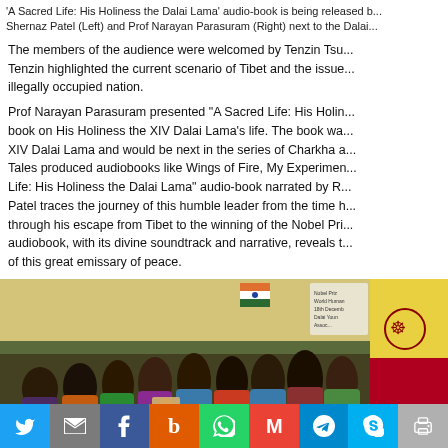'A Sacred Life: His Holiness the Dalai Lama' audio-book is being released b... Shernaz Patel (Left) and Prof Narayan Parasuram (Right) next to the Dalai...
The members of the audience were welcomed by Tenzin Tsu... Tenzin highlighted the current scenario of Tibet and the issue... illegally occupied nation.
Prof Narayan Parasuram presented "A Sacred Life: His Holin... book on His Holiness the XIV Dalai Lama's life. The book wa... XIV Dalai Lama and would be next in the series of Charkha a... Tales produced audiobooks like Wings of Fire, My Experimen... Life: His Holiness the Dalai Lama" audio-book narrated by R... Patel traces the journey of this humble leader from the time h... through his escape from Tibet to the winning of the Nobel Pri... audiobook, with its divine soundtrack and narrative, reveals t... of this great emissary of peace.
[Figure (photo): Group of women in traditional Tibetan attire at an event hall with Indian and Tibetan flags, a portrait of the Dalai Lama visible, audience standing and clapping.]
Social share buttons: Twitter, Email, Facebook, Bebo, WhatsApp, Gmail, Telegram, Skype, Print